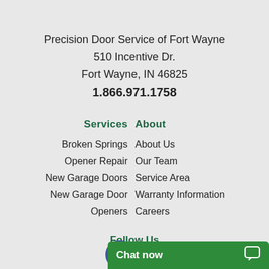Precision Door Service of Fort Wayne
510 Incentive Dr.
Fort Wayne, IN 46825
1.866.971.1758
Services
About
Broken Springs
About Us
Opener Repair
Our Team
New Garage Doors
Service Area
New Garage Door Openers
Warranty Information
Careers
Follow Us